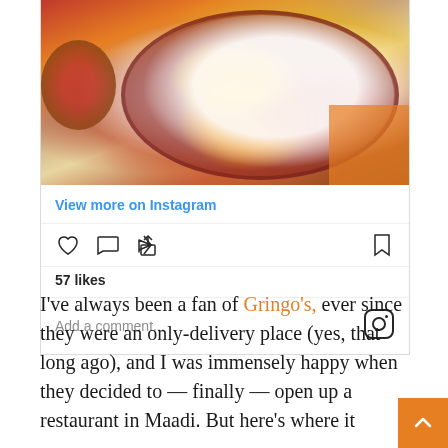[Figure (photo): Instagram embed showing a top-down photo of nachos in a dark bowl with sour cream, corn, red peppers, pickled onions, and other toppings, with a side dish of rice visible at left, on an orange background.]
View more on Instagram
57 likes
Add a comment...
I've always been a fan of Gringo's, ever since they were an only-delivery place (yes, that long ago), and I was immensely happy when they decided to — finally — open up a restaurant in Maadi. But here's where it